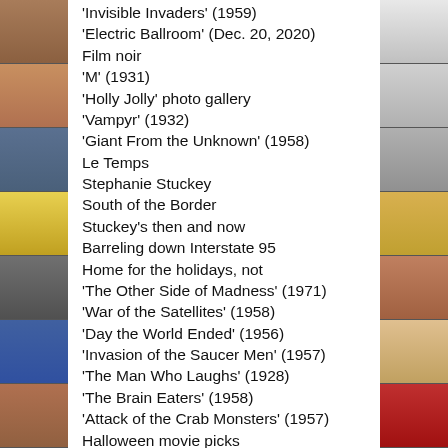[Figure (photo): Left side collage strip of various images]
[Figure (photo): Right side collage strip of various images]
‘Invisible Invaders’ (1959)
‘Electric Ballroom’ (Dec. 20, 2020)
Film noir
‘M’ (1931)
‘Holly Jolly’ photo gallery
‘Vampyr’ (1932)
‘Giant From the Unknown’ (1958)
Le Temps
Stephanie Stuckey
South of the Border
Stuckey’s then and now
Barreling down Interstate 95
Home for the holidays, not
‘The Other Side of Madness’ (1971)
‘War of the Satellites’ (1958)
‘Day the World Ended’ (1956)
‘Invasion of the Saucer Men’ (1957)
‘The Man Who Laughs’ (1928)
‘The Brain Eaters’ (1958)
‘Attack of the Crab Monsters’ (1957)
Halloween movie picks